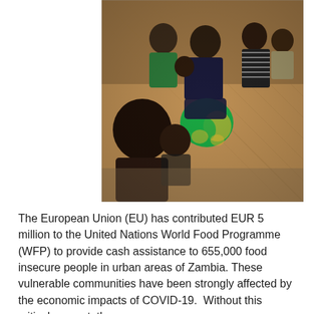[Figure (photo): A family group photo showing an African family seated together indoors. There are five children and two adults. A woman in the center holds a small baby wrapped in a bright green and yellow patterned cloth. A man stands behind wearing a green shirt. A teenage girl stands to the right wearing a striped shirt. Two young boys are in the foreground, one shirtless looking directly at the camera. A toddler sits on the right.]
The European Union (EU) has contributed EUR 5 million to the United Nations World Food Programme (WFP) to provide cash assistance to 655,000 food insecure people in urban areas of Zambia. These vulnerable communities have been strongly affected by the economic impacts of COVID-19.  Without this critical support, the ...